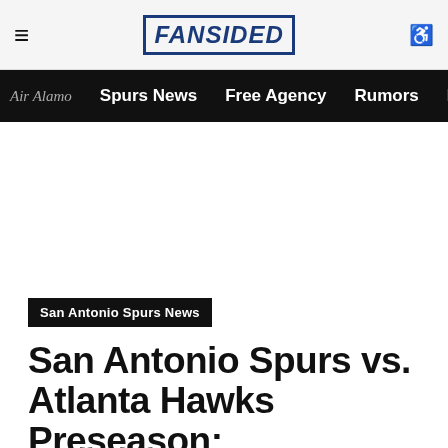≡  FANSIDED  ♿
Air Alamo  Spurs News  Free Agency  Rumors  Draft  His
San Antonio Spurs News
San Antonio Spurs vs. Atlanta Hawks Preseason: